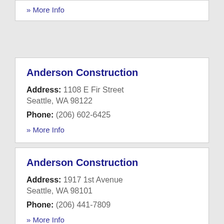» More Info
Anderson Construction
Address: 1108 E Fir Street Seattle, WA 98122
Phone: (206) 602-6425
» More Info
Anderson Construction
Address: 1917 1st Avenue Seattle, WA 98101
Phone: (206) 441-7809
» More Info